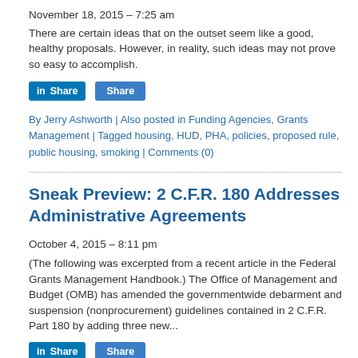November 18, 2015 – 7:25 am
There are certain ideas that on the outset seem like a good, healthy proposals. However, in reality, such ideas may not prove so easy to accomplish.
[Figure (other): LinkedIn Share button and Share button]
By Jerry Ashworth | Also posted in Funding Agencies, Grants Management | Tagged housing, HUD, PHA, policies, proposed rule, public housing, smoking | Comments (0)
Sneak Preview: 2 C.F.R. 180 Addresses Administrative Agreements
October 4, 2015 – 8:11 pm
(The following was excerpted from a recent article in the Federal Grants Management Handbook.) The Office of Management and Budget (OMB) has amended the governmentwide debarment and suspension (nonprocurement) guidelines contained in 2 C.F.R. Part 180 by adding three new...
[Figure (other): LinkedIn Share button and Share button (partially visible)]